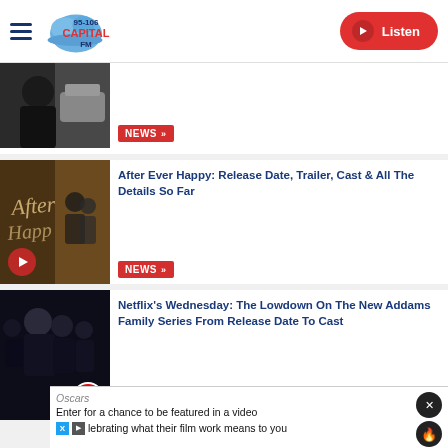Capital FM 95-106 | Listen
[Figure (photo): Partially visible news article thumbnail - person in dark t-shirt]
NEWS »
After Ever Happy: Release Date, Trailer, Cast & All The Details So Far
NEWS »
[Figure (photo): After Ever Happy movie promotional image with play button overlay]
Netflix's Wednesday: The Lowdown On The New Addams Family Series From Release Date To Cast
NEWS »
[Figure (photo): Wednesday Addams Family Netflix series cast photo in dark tones with Netflix logo]
Oscars
Enter for a chance to be featured in a video celebrating what their film work means to you